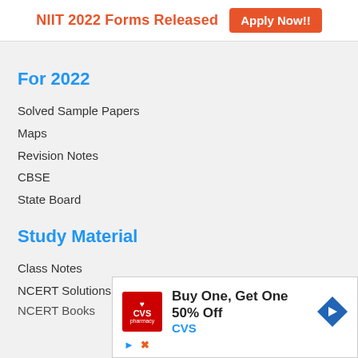NIIT 2022 Forms Released  Apply Now!!
For 2022
Solved Sample Papers
Maps
Revision Notes
CBSE
State Board
Study Material
Class Notes
NCERT Solutions
NCERT Books
[Figure (infographic): CVS Pharmacy advertisement: Buy One, Get One 50% Off CVS, with CVS logo and navigation arrow icon]